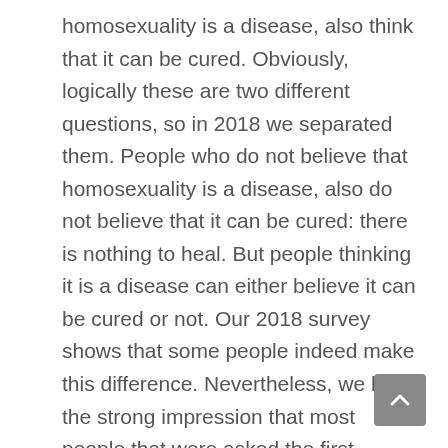homosexuality is a disease, also think that it can be cured. Obviously, logically these are two different questions, so in 2018 we separated them. People who do not believe that homosexuality is a disease, also do not believe that it can be cured: there is nothing to heal. But people thinking it is a disease can either believe it can be cured or not. Our 2018 survey shows that some people indeed make this difference. Nevertheless, we have the strong impression that most people that were asked the first question concentrate in their answer on the illness, and not on the possible healing.
Our analyses of the data of 2017 show that homosexuality is the issue where Germans and